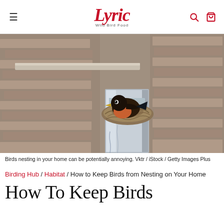Lyric Wild Bird Food — navigation header with hamburger menu, logo, search icon, cart icon
[Figure (photo): A robin bird sitting in a nest built on a metal mailbox or pipe fixture mounted against a brick wall. Blurred brick wall background.]
Birds nesting in your home can be potentially annoying. Vktr / iStock / Getty Images Plus
Birding Hub / Habitat / How to Keep Birds from Nesting on Your Home
How To Keep Birds